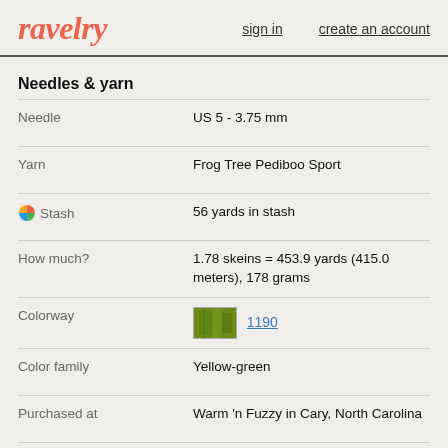ravelry  sign in  create an account
Needles & yarn
| Field | Value |
| --- | --- |
| Needle | US 5 - 3.75 mm |
| Yarn | Frog Tree Pediboo Sport |
| Stash | 56 yards in stash |
| How much? | 1.78 skeins = 453.9 yards (415.0 meters), 178 grams |
| Colorway | 1190 |
| Color family | Yellow-green |
| Purchased at | Warm 'n Fuzzy in Cary, North Carolina |
| Purchase date | August 2, 2014 |
Notes